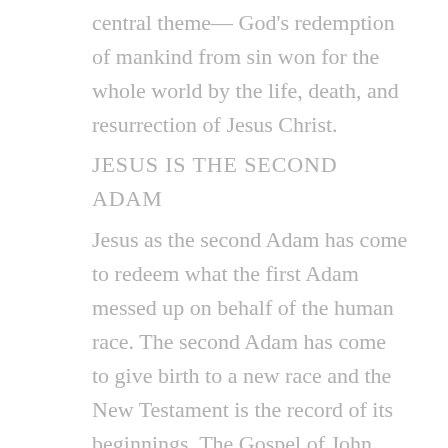central theme— God's redemption of mankind from sin won for the whole world by the life, death, and resurrection of Jesus Christ.
JESUS IS THE SECOND ADAM
Jesus as the second Adam has come to redeem what the first Adam messed up on behalf of the human race. The second Adam has come to give birth to a new race and the New Testament is the record of its beginnings. The Gospel of John starts very much the same way as Genesis to confirm that God's focus must be our focus, namely...